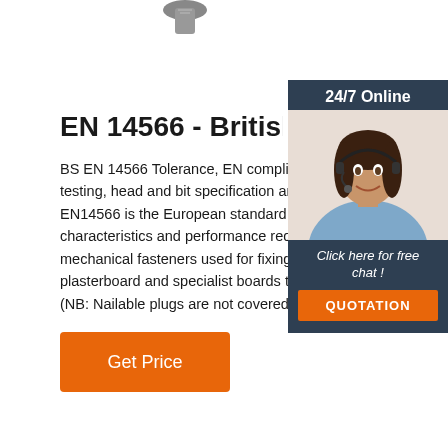[Figure (photo): Partial view of a screw/fastener at the top of the page]
EN 14566 - British Gypsum
BS EN 14566 Tolerance, EN compliance, rig testing, head and bit specification and packaging. EN14566 is the European standard that specifies characteristics and performance requirements for mechanical fasteners used for fixing gypsum plasterboard and specialist boards to timber. (NB: Nailable plugs are not covered by this s…
[Figure (photo): 24/7 Online chat widget with photo of a woman wearing a headset and an orange QUOTATION button]
[Figure (other): Orange 'Get Price' button]